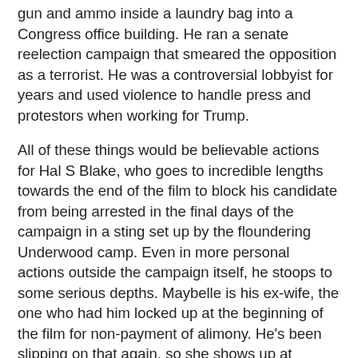gun and ammo inside a laundry bag into a Congress office building. He ran a senate reelection campaign that smeared the opposition as a terrorist. He was a controversial lobbyist for years and used violence to handle press and protestors when working for Trump.
All of these things would be believable actions for Hal S Blake, who goes to incredible lengths towards the end of the film to block his candidate from being arrested in the final days of the campaign in a sting set up by the floundering Underwood camp. Even in more personal actions outside the campaign itself, he stoops to some serious depths. Maybelle is his ex-wife, the one who had him locked up at the beginning of the film for non-payment of alimony. He's been slipping on that again, so she shows up at campaign headquarters to collect and he actually goes to his girlfriend to get the cash, ostensibly for 'a little bill I overlooked'. As you might expect for a character played by Bette Davis, she's sharp and sees through much of what he does, to the degree that she continues to rebuff his proposals of marriage because she knows that he's all about the chase rather than the catch; she's more than happy to be chased but not